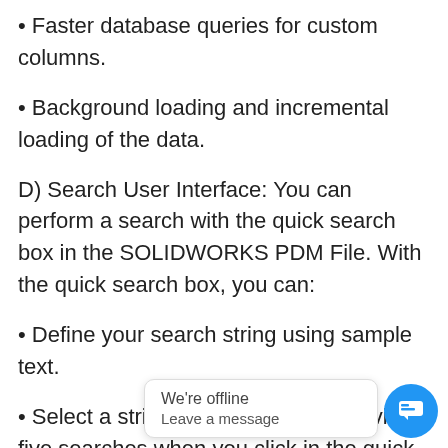Faster database queries for custom columns.
Background loading and incremental loading of the data.
D) Search User Interface: You can perform a search with the quick search box in the SOLIDWORKS PDM File. With the quick search box, you can:
Define your search string using sample text.
Select a string from a list of the previous five searches when you click in the quick search box.
Use AND, OR, and NOT operators in the